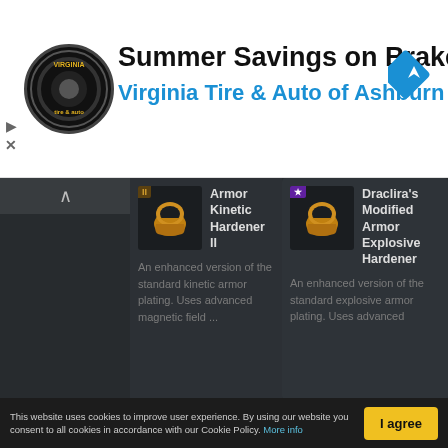[Figure (illustration): Advertisement banner for Virginia Tire & Auto of Ashburn with logo and navigation icon]
Summer Savings on Brakes
Virginia Tire & Auto of Ashburn ...
[Figure (screenshot): Game item card: Armor Kinetic Hardener II with golden helmet icon and tier II badge. Description: An enhanced version of the standard kinetic armor plating. Uses advanced magnetic field ...]
[Figure (screenshot): Game item card: Draclira's Modified Armor Explosive Hardener with golden helmet icon and purple star badge. Description: An enhanced version of the standard explosive armor plating. Uses advanced...]
This website uses cookies to improve user experience. By using our website you consent to all cookies in accordance with our Cookie Policy. More info
I agree